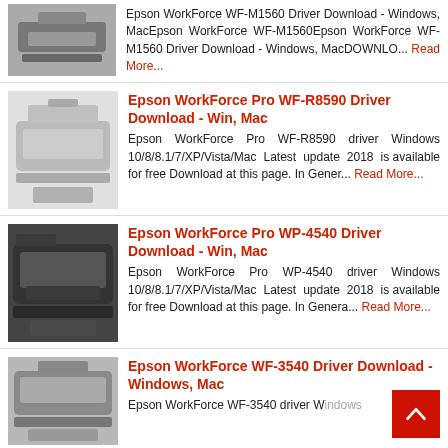Epson WorkForce WF-M1560 Driver Download - Windows, MacEpson WorkForce WF-M1560Epson WorkForce WF-M1560 Driver Download - Windows, MacDOWNLO... Read More...
[Figure (photo): Epson WorkForce Pro WF-R8590 printer image]
Epson WorkForce Pro WF-R8590 Driver Download - Win, Mac
Epson WorkForce Pro WF-R8590 driver Windows 10/8/8.1/7/XP/Vista/Mac Latest update 2018 is available for free Download at this page. In Gener... Read More...
[Figure (photo): Epson WorkForce Pro WP-4540 printer image]
Epson WorkForce Pro WP-4540 Driver Download - Win, Mac
Epson WorkForce Pro WP-4540 driver Windows 10/8/8.1/7/XP/Vista/Mac Latest update 2018 is available for free Download at this page. In Genera... Read More...
[Figure (photo): Epson WorkForce WF-3540 printer image]
Epson WorkForce WF-3540 Driver Download - Windows, Mac
Epson WorkForce WF-3540 driver Windows 10/8/8.1/7/XP/Vista/Mac Latest update 2018...